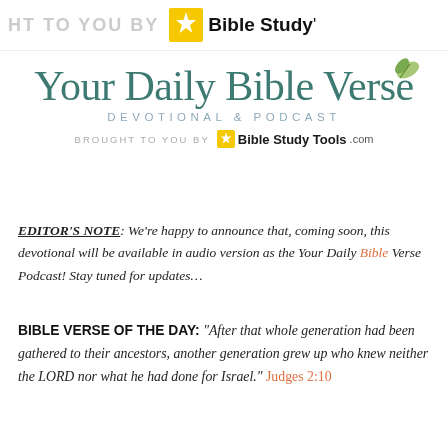HT TO YOU BY  Bible Study
[Figure (logo): Your Daily Bible Verse Devotional & Podcast logo with teal serif typography and leaf illustration, brought to you by Bible Study Tools .com]
EDITOR'S NOTE: We're happy to announce that, coming soon, this devotional will be available in audio version as the Your Daily Bible Verse Podcast! Stay tuned for updates...
BIBLE VERSE OF THE DAY: "After that whole generation had been gathered to their ancestors, another generation grew up who knew neither the LORD nor what he had done for Israel." Judges 2:10